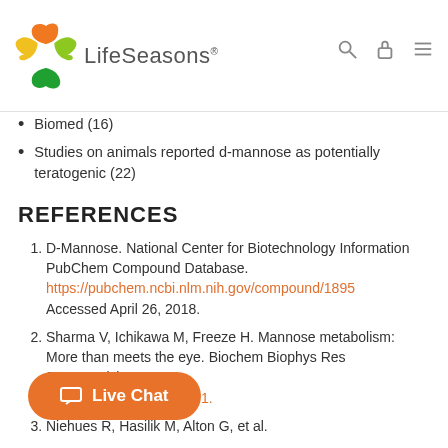LifeSeasons
Biomed (16)
Studies on animals reported d-mannose as potentially teratogenic (22)
REFERENCES
1. D-Mannose. National Center for Biotechnology Information PubChem Compound Database. https://pubchem.ncbi.nlm.nih.gov/compound/1895 Accessed April 26, 2018.
2. Sharma V, Ichikawa M, Freeze H. Mannose metabolism: More than meets the eye. Biochem Biophys Res 2014;453(2):220-228. doi.org/j.bbrc.2014.06.021.
3. Niehues R, Hasilik M, Alton G, et al.